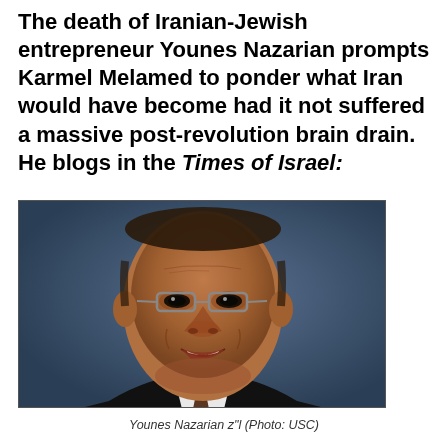The death of Iranian-Jewish entrepreneur Younes Nazarian prompts Karmel Melamed to ponder what Iran would have become had it not suffered a massive post-revolution brain drain. He blogs in the Times of Israel:
[Figure (photo): Portrait photo of Younes Nazarian, an elderly man wearing glasses and a suit, smiling, against a blue-grey background.]
Younes Nazarian z"l (Photo: USC)